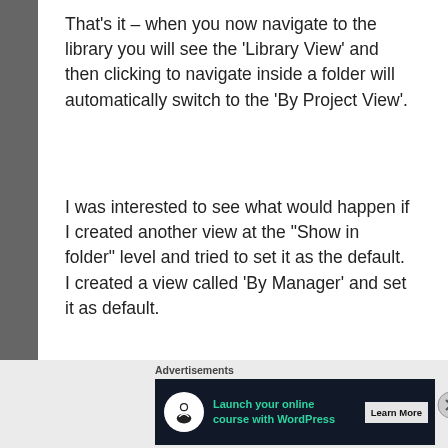That's it – when you now navigate to the library you will see the 'Library View' and then clicking to navigate inside a folder will automatically switch to the 'By Project View'.
I was interested to see what would happen if I created another view at the "Show in folder" level and tried to set it as the default. I created a view called 'By Manager' and set it as default.
[Figure (screenshot): SharePoint Views settings panel showing: title 'Views', description 'A view of a document library allows you to see a particular selection of items currently configured for this document library:', table with columns 'View (click to edit)', 'Show In', 'Default View', and one row showing 'All Documents', 'All']
Advertisements
[Figure (screenshot): Advertisement banner: dark background, white circle icon with tree/person logo, green text 'Launch your online course with WordPress', white button 'Learn More']